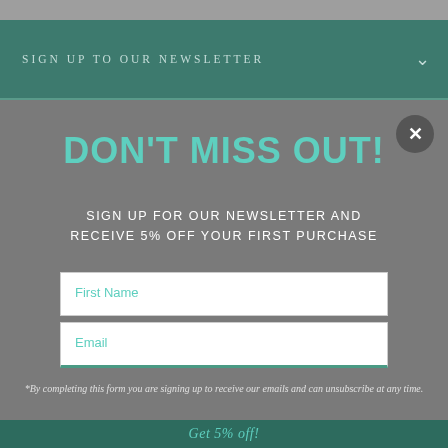SIGN UP TO OUR NEWSLETTER
DON'T MISS OUT!
SIGN UP FOR OUR NEWSLETTER AND RECEIVE 5% OFF YOUR FIRST PURCHASE
First Name
Email
*By completing this form you are signing up to receive our emails and can unsubscribe at any time.
Get 5% off!